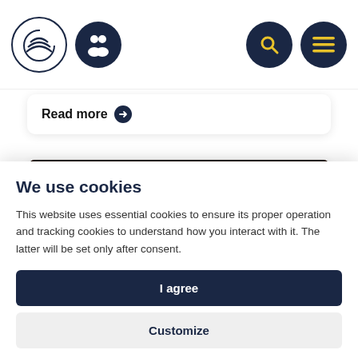Navigation bar with logo and icons
Read more →
[Figure (photo): Top-down view of children's heads with brown hair on dark background]
We use cookies
This website uses essential cookies to ensure its proper operation and tracking cookies to understand how you interact with it. The latter will be set only after consent.
I agree
Customize